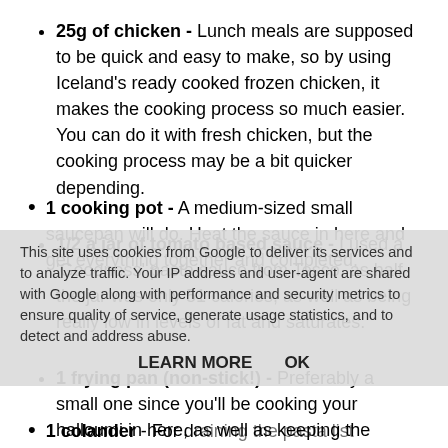25g of chicken - Lunch meals are supposed to be quick and easy to make, so by using Iceland's ready cooked frozen chicken, it makes the cooking process so much easier. You can do it with fresh chicken, but the cooking process may be a bit quicker depending.
1/2 a jar of tomato based sauce - I used a 'Goodness' pasta sauce from Tesco, as half the jar was only 51 calories, as well as being really low in levels of fat and saturates.
1 frying pan (non-stick!) - Preferably a small one since you'll be cooking your halloumi in here, as well as keeping the chicken warm once it has been defrosted.
1 cooking pot - A medium-sized small saucepan will do. Heat the sauce in here and get everything together and completed.
1 colander - For draining the pasta list
This site uses cookies from Google to deliver its services and to analyze traffic. Your IP address and user-agent are shared with Google along with performance and security metrics to ensure quality of service, generate usage statistics, and to detect and address abuse.
LEARN MORE    OK